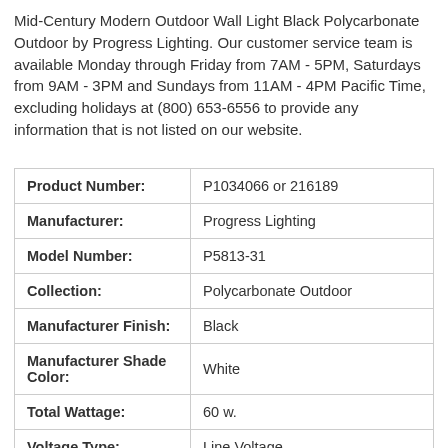Mid-Century Modern Outdoor Wall Light Black Polycarbonate Outdoor by Progress Lighting. Our customer service team is available Monday through Friday from 7AM - 5PM, Saturdays from 9AM - 3PM and Sundays from 11AM - 4PM Pacific Time, excluding holidays at (800) 653-6556 to provide any information that is not listed on our website.
| Product Number: | P1034066 or 216189 |
| Manufacturer: | Progress Lighting |
| Model Number: | P5813-31 |
| Collection: | Polycarbonate Outdoor |
| Manufacturer Finish: | Black |
| Manufacturer Shade Color: | White |
| Total Wattage: | 60 w. |
| Voltage Type: | Line Voltage |